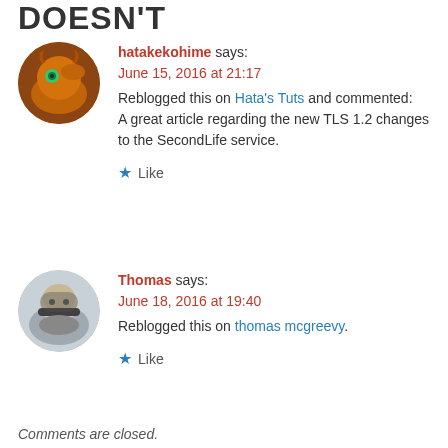DOESN'T
hatakekohime says:
June 15, 2016 at 21:17
Reblogged this on Hata's Tuts and commented:
A great article regarding the new TLS 1.2 changes to the SecondLife service.
★ Like
Thomas says:
June 18, 2016 at 19:40
Reblogged this on thomas mcgreevy.
★ Like
Comments are closed.